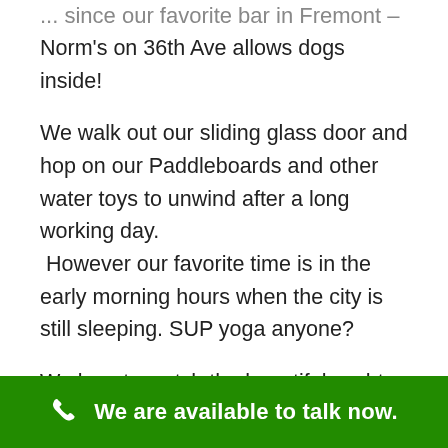Norm's on 36th Ave allows dogs inside!
We walk out our sliding glass door and hop on our Paddleboards and other water toys to unwind after a long working day. However our favorite time is in the early morning hours when the city is still sleeping. SUP yoga anyone?
We love to watch the beautiful yachts cruise into the Westlake marinas and play
We are available to talk now.